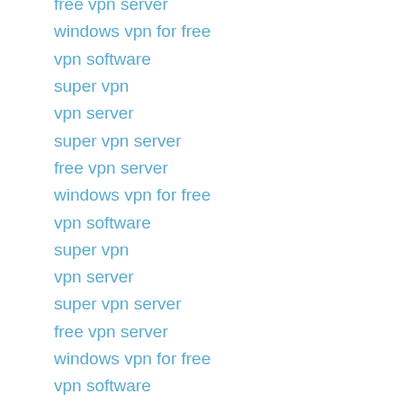free vpn server
windows vpn for free
vpn software
super vpn
vpn server
super vpn server
free vpn server
windows vpn for free
vpn software
super vpn
vpn server
super vpn server
free vpn server
windows vpn for free
vpn software
super vpn
vpn server
super vpn server
free vpn server
windows vpn for free
vpn software
super vpn
vpn server